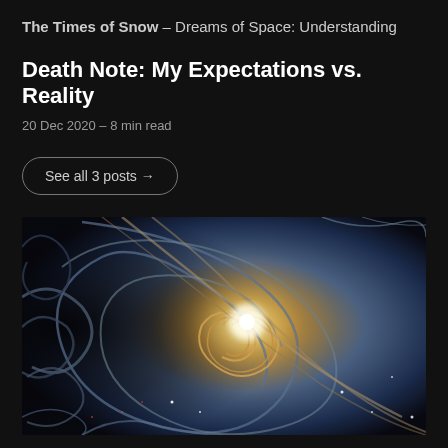The Times of Snow – Dreams of Space: Understanding
Death Note: My Expectations vs. Reality
20 Dec 2020 – 8 min read
See all 3 posts →
[Figure (illustration): Fractal spiral galaxy artwork with nautilus shell pattern in blues, golds, and purples on a dark background, featuring glowing center and intricate swirling tendrils]